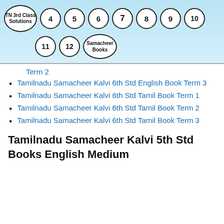[Figure (infographic): Navigation header with circular buttons: TN 3rd Class Solutions, 4, 5, 6, 7, 8, 9, 10, 11, 12, Samacheer Books]
Term 2
Tamilnadu Samacheer Kalvi 6th Std English Book Term 3
Tamilnadu Samacheer Kalvi 6th Std Tamil Book Term 1
Tamilnadu Samacheer Kalvi 6th Std Tamil Book Term 2
Tamilnadu Samacheer Kalvi 6th Std Tamil Book Term 3
Tamilnadu Samacheer Kalvi 5th Std Books English Medium